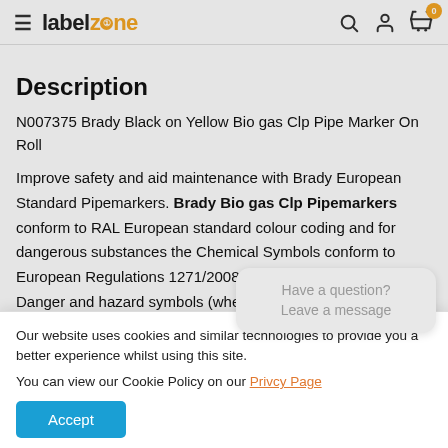labelzone — navigation header with hamburger menu, search, account, and cart (0) icons
Description
N007375 Brady Black on Yellow Bio gas Clp Pipe Marker On Roll
Improve safety and aid maintenance with Brady European Standard Pipemarkers. Brady Bio gas Clp Pipemarkers conform to RAL European standard colour coding and for dangerous substances the Chemical Symbols conform to European Regulations 1271/2008, 790/2009 and 286/2001. Danger and hazard symbols (where applicable) are p...
Our website uses cookies and similar technolo... better experience whilst using this site.
You can view our Cookie Policy on our Privcy Page
Accept
Have a question? Leave a message
printed both sides of the text, and the Signal word underneath